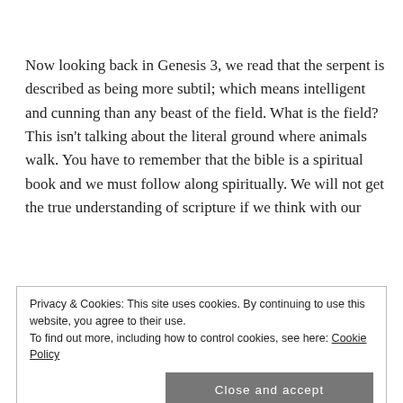Now looking back in Genesis 3, we read that the serpent is described as being more subtil; which means intelligent and cunning than any beast of the field. What is the field? This isn't talking about the literal ground where animals walk. You have to remember that the bible is a spiritual book and we must follow along spiritually. We will not get the true understanding of scripture if we think with our
Privacy & Cookies: This site uses cookies. By continuing to use this website, you agree to their use.
To find out more, including how to control cookies, see here: Cookie Policy
[Close and accept button]
domain is the world: Job 1:7 And the Lord said